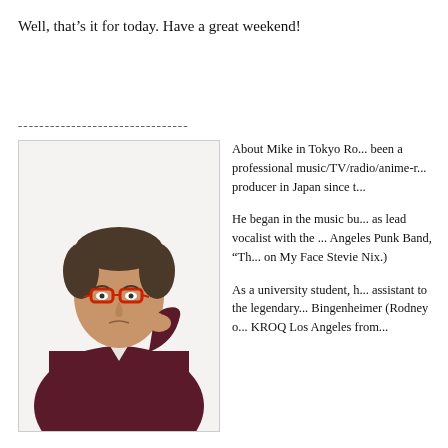Well, that's it for today. Have a great weekend!
--------------------------------
[Figure (photo): Man in dark red/maroon blazer with red-framed glasses, hand on chin in thinking pose, white background]
About Mike in Tokyo Ro... been a professional music/TV/radio/anime-r... producer in Japan since t...
He began in the music bu... as lead vocalist with the ... Angeles Punk Band, "Th... on My Face Stevie Nix.)
As a university student, h... assistant to the legendary... Bingenheimer (Rodney o... KROQ Los Angeles from...